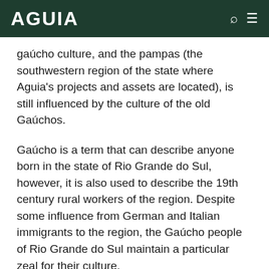AGUIA
gaúcho culture, and the pampas (the southwestern region of the state where Aguia's projects and assets are located), is still influenced by the culture of the old Gaúchos.
Gaúcho is a term that can describe anyone born in the state of Rio Grande do Sul, however, it is also used to describe the 19th century rural workers of the region. Despite some influence from German and Italian immigrants to the region, the Gaúcho people of Rio Grande do Sul maintain a particular zeal for their culture.
Gaúcho culture in Rio Grande do Sul remains on display today, characterised through the wearing of the traditional Gaúcho outfit, skilled horsemanship and